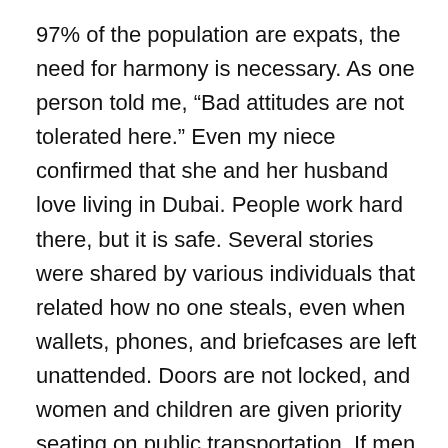97% of the population are expats, the need for harmony is necessary. As one person told me, “Bad attitudes are not tolerated here.” Even my niece confirmed that she and her husband love living in Dubai. People work hard there, but it is safe. Several stories were shared by various individuals that related how no one steals, even when wallets, phones, and briefcases are left unattended. Doors are not locked, and women and children are given priority seating on public transportation. If men transgress to those seats, they are subject to fines. Women feel safe even at night. Also, I was impressed with the cleanliness of all public areas and noted a robust economy. Eating, drinking, smoking, and chewing gum is not permitted on public transportation. On a Tuesday evening, a mall was bustling with families shopping and dining out. Most malls and restaurants are open quite late, and they do seem to